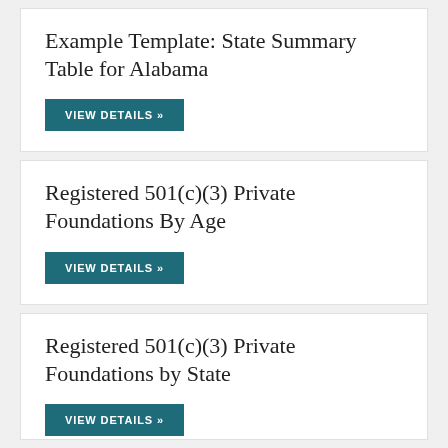Example Template: State Summary Table for Alabama
VIEW DETAILS »
Registered 501(c)(3) Private Foundations By Age
VIEW DETAILS »
Registered 501(c)(3) Private Foundations by State
VIEW DETAILS »